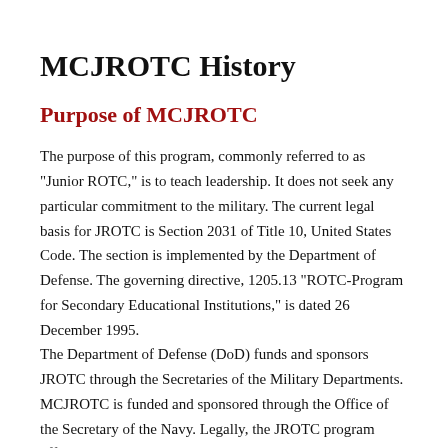MCJROTC History
Purpose of MCJROTC
The purpose of this program, commonly referred to as "Junior ROTC," is to teach leadership. It does not seek any particular commitment to the military. The current legal basis for JROTC is Section 2031 of Title 10, United States Code. The section is implemented by the Department of Defense. The governing directive, 1205.13 "ROTC-Program for Secondary Educational Institutions," is dated 26 December 1995.
The Department of Defense (DoD) funds and sponsors JROTC through the Secretaries of the Military Departments. MCJROTC is funded and sponsored through the Office of the Secretary of the Navy. Legally, the JROTC program offered in a high school must be no less than the government…